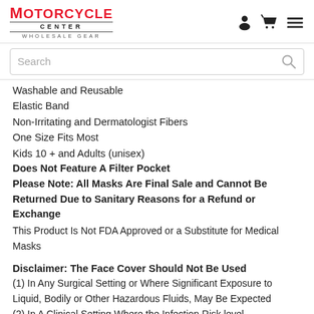MOTORCYCLE CENTER WHOLESALE GEAR
Washable and Reusable
Elastic Band
Non-Irritating and Dermatologist Fibers
One Size Fits Most
Kids 10 + and Adults (unisex)
Does Not Feature A Filter Pocket
Please Note: All Masks Are Final Sale and Cannot Be Returned Due to Sanitary Reasons for a Refund or Exchange
This Product Is Not FDA Approved or a Substitute for Medical Masks
Disclaimer: The Face Cover Should Not Be Used
(1) In Any Surgical Setting or Where Significant Exposure to Liquid, Bodily or Other Hazardous Fluids, May Be Expected (2) In A Clinical Setting Where the Infection Risk level...